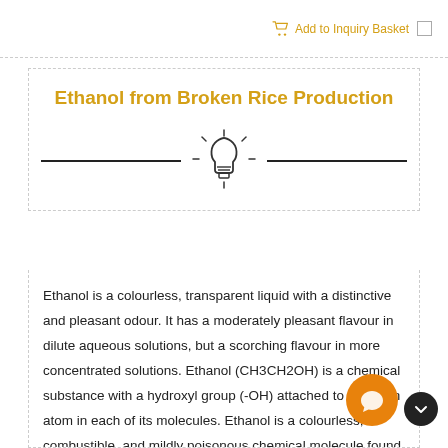Add to Inquiry Basket
Ethanol from Broken Rice Production
[Figure (illustration): Light bulb icon with horizontal lines on either side, decorative divider]
Ethanol is a colourless, transparent liquid with a distinctive and pleasant odour. It has a moderately pleasant flavour in dilute aqueous solutions, but a scorching flavour in more concentrated solutions. Ethanol (CH3CH2OH) is a chemical substance with a hydroxyl group (-OH) attached to a carbon atom in each of its molecules. Ethanol is a colourless, combustible, and mildly poisonous chemical molecule found in alcoholic beverages. It is also known as ethyl alcohol, drinking alcohol, or grain alcohol. It is commonly referred to as "alcohol" in